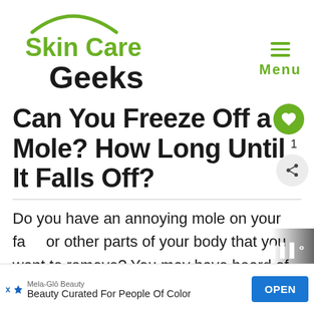[Figure (logo): Skin Care Geeks logo with green arc above 'Skin Care' in green and 'Geeks' in black]
≡ Menu
Can You Freeze Off a Mole? How Long Until It Falls Off?
Do you have an annoying mole on your face or other parts of your body that you want to remove? You may have heard of freezing moles off, and if so, how long until it falls off? I'm
[Figure (other): Advertisement banner: Mela-Glō Beauty, Beauty Curated For People Of Color, with OPEN button]